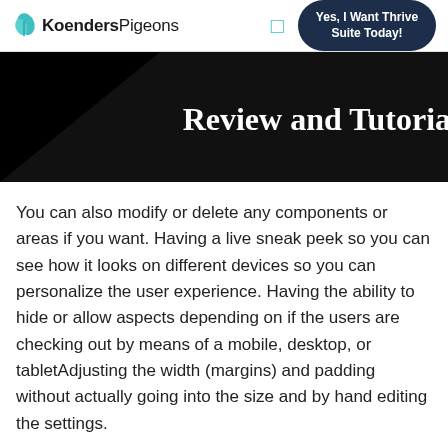KoendersPigeons — Yes, I Want Thrive Suite Today!
Review and Tutorial
You can also modify or delete any components or areas if you want. Having a live sneak peek so you can see how it looks on different devices so you can personalize the user experience. Having the ability to hide or allow aspects depending on if the users are checking out by means of a mobile, desktop, or tabletAdjusting the width (margins) and padding without actually going into the size and by hand editing the settings.